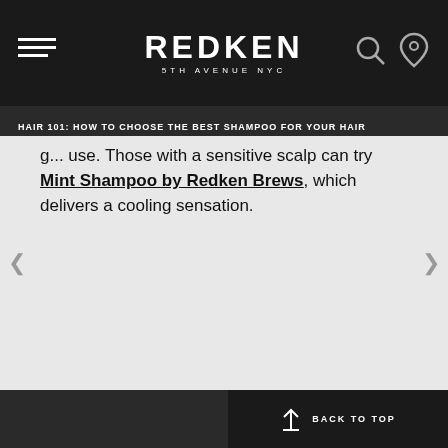REDKEN 5TH AVENUE NYC
HAIR 101: HOW TO CHOOSE THE BEST SHAMPOO FOR YOUR HAIR
g... use. Those with a sensitive scalp can try Mint Shampoo by Redken Brews, which delivers a cooling sensation.
BACK TO TOP